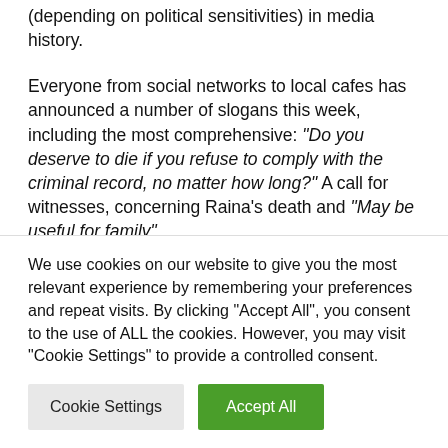(depending on political sensitivities) in media history.
Everyone from social networks to local cafes has announced a number of slogans this week, including the most comprehensive: “Do you deserve to die if you refuse to comply with the criminal record, no matter how long?” A call for witnesses, concerning Raina’s death and “May be useful for family”.
We use cookies on our website to give you the most relevant experience by remembering your preferences and repeat visits. By clicking “Accept All”, you consent to the use of ALL the cookies. However, you may visit "Cookie Settings" to provide a controlled consent.